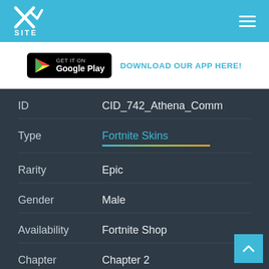XSITE logo and navigation
GET IT ON Google Play — DOWNLOAD OUR APP HERE!
| Field | Value |
| --- | --- |
| ID | CID_742_Athena_Comm |
| Type | Fortnite Skins |
| Rarity | Epic |
| Gender | Male |
| Availability | Fortnite Shop |
| Chapter | Chapter 2 |